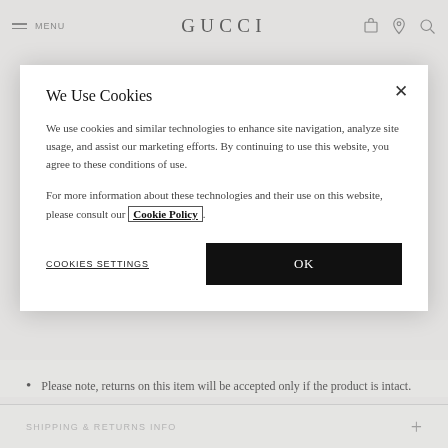MENU | GUCCI
presented in a precious gold-toned casing topped with a porcelain
We Use Cookies
We use cookies and similar technologies to enhance site navigation, analyze site usage, and assist our marketing efforts. By continuing to use this website, you agree to these conditions of use.
For more information about these technologies and their use on this website, please consult our Cookie Policy.
COOKIES SETTINGS
OK
Please note, returns on this item will be accepted only if the product is intact.
SHIPPING & RETURNS INFO